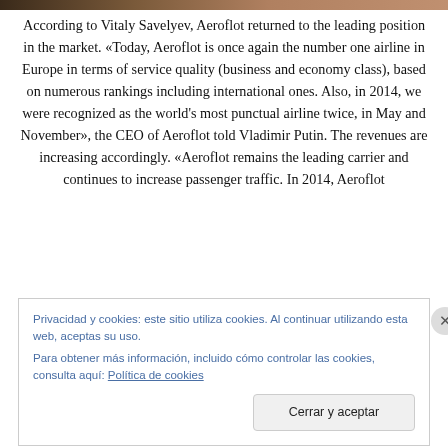[Figure (photo): Partial photo strip at top of page, showing a blurred background image]
According to Vitaly Savelyev, Aeroflot returned to the leading position in the market. «Today, Aeroflot is once again the number one airline in Europe in terms of service quality (business and economy class), based on numerous rankings including international ones. Also, in 2014, we were recognized as the world's most punctual airline twice, in May and November», the CEO of Aeroflot told Vladimir Putin. The revenues are increasing accordingly. «Aeroflot remains the leading carrier and continues to increase passenger traffic. In 2014, Aeroflot
Privacidad y cookies: este sitio utiliza cookies. Al continuar utilizando esta web, aceptas su uso.
Para obtener más información, incluido cómo controlar las cookies, consulta aquí: Política de cookies
Cerrar y aceptar